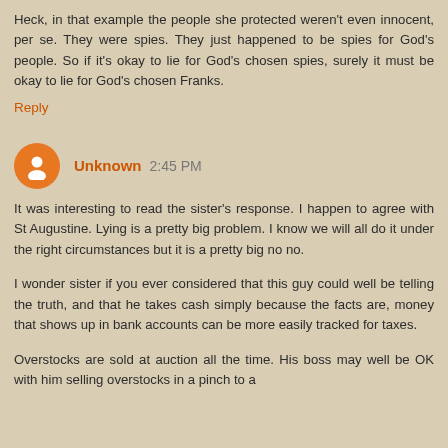Heck, in that example the people she protected weren't even innocent, per se. They were spies. They just happened to be spies for God's people. So if it's okay to lie for God's chosen spies, surely it must be okay to lie for God's chosen Franks.
Reply
Unknown 2:45 PM
It was interesting to read the sister's response. I happen to agree with St Augustine. Lying is a pretty big problem. I know we will all do it under the right circumstances but it is a pretty big no no.
I wonder sister if you ever considered that this guy could well be telling the truth, and that he takes cash simply because the facts are, money that shows up in bank accounts can be more easily tracked for taxes.
Overstocks are sold at auction all the time. His boss may well be OK with him selling overstocks in a pinch to a